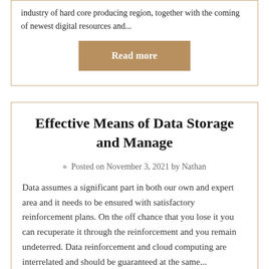industry of hard core producing region, together with the coming of newest digital resources and...
Read more
Effective Means of Data Storage and Manage
Posted on November 3, 2021 by Nathan
Data assumes a significant part in both our own and expert area and it needs to be ensured with satisfactory reinforcement plans. On the off chance that you lose it you can recuperate it through the reinforcement and you remain undeterred. Data reinforcement and cloud computing are interrelated and should be guaranteed at the same...